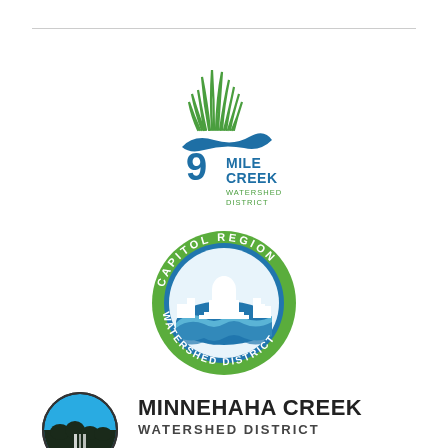[Figure (logo): 9 Mile Creek Watershed District logo: green grass/reeds above blue stylized water wave, with a '9' shape, text '9 MILE CREEK WATERSHED DISTRICT' below]
[Figure (logo): Capitol Region Watershed District circular logo: green ring with 'CAPITOL REGION' text on top arc, 'WATERSHED DISTRICT' on bottom arc, blue interior with white capitol building silhouette and water waves]
[Figure (logo): Minnehaha Creek Watershed District logo: circular black emblem with blue waterfall/creek scene, beside bold text 'MINNEHAHA CREEK WATERSHED DISTRICT']